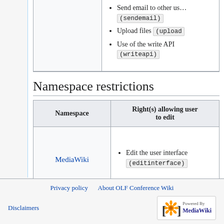|  |  |
| --- | --- |
|  | Send email to other users (sendemail)
Upload files (upload
Use of the write API (writeapi) |
Namespace restrictions
| Namespace | Right(s) allowing user to edit |
| --- | --- |
| MediaWiki | Edit the user interface (editinterface) |
Privacy policy   About OLF Conference Wiki   Disclaimers   Powered by MediaWiki